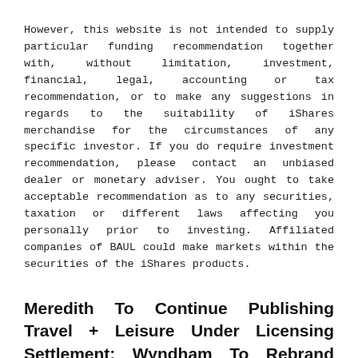However, this website is not intended to supply particular funding recommendation together with, without limitation, investment, financial, legal, accounting or tax recommendation, or to make any suggestions in regards to the suitability of iShares merchandise for the circumstances of any specific investor. If you do require investment recommendation, please contact an unbiased dealer or monetary adviser. You ought to take acceptable recommendation as to any securities, taxation or different laws affecting you personally prior to investing. Affiliated companies of BAUL could make markets within the securities of the iShares products.
Meredith To Continue Publishing Travel + Leisure Under Licensing Settlement; Wyndham To Rebrand Itself